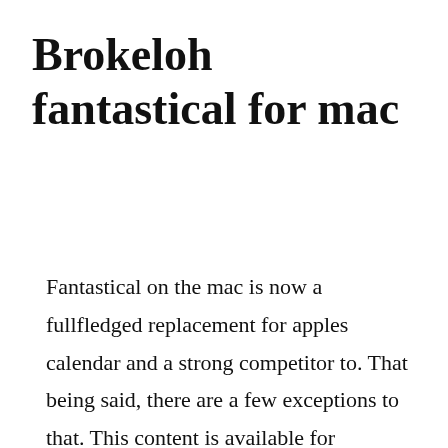Brokeloh fantastical for mac
Fantastical on the mac is now a fullfledged replacement for apples calendar and a strong competitor to. That being said, there are a few exceptions to that. This content is available for immediate download to owners of the magazine. When comparing busycal vs fantastical 2, the slant community